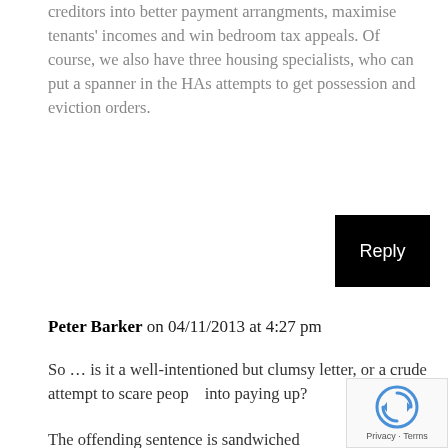creditors into better payment arrangments, maximise tenants' incomes and win bedroom tax appeals. Of course, we also have three housing specialists, who can put a spanner in the HAs attempts to get possession and eviction orders.
Reply
Peter Barker on 04/11/2013 at 4:27 pm
So … is it a well-intentioned but clumsy letter, or a crude attempt to scare people into paying up?
The offending sentence is sandwiched